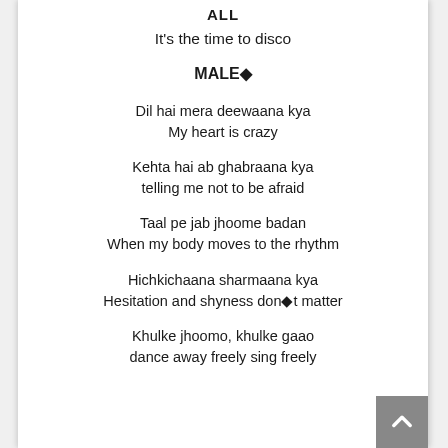ALL
It's the time to disco
MALE◆
Dil hai mera deewaana kya
My heart is crazy
Kehta hai ab ghabraana kya
telling me not to be afraid
Taal pe jab jhoome badan
When my body moves to the rhythm
Hichkichaana sharmaana kya
Hesitation and shyness don◆t matter
Khulke jhoomo, khulke gaao
dance away freely sing freely